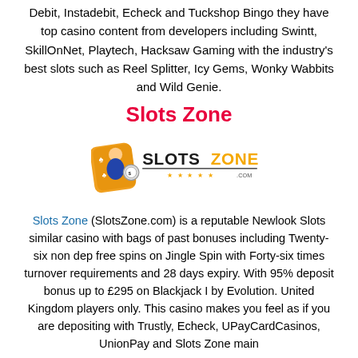Debit, Instadebit, Echeck and Tuckshop Bingo they have top casino content from developers including Swintt, SkillOnNet, Playtech, Hacksaw Gaming with the industry's best slots such as Reel Splitter, Icy Gems, Wonky Wabbits and Wild Genie.
Slots Zone
[Figure (logo): Slots Zone logo — cartoon character holding a casino chip next to 'SLOTSZONE .COM' text with stars]
Slots Zone (SlotsZone.com) is a reputable Newlook Slots similar casino with bags of past bonuses including Twenty-six non dep free spins on Jingle Spin with Forty-six times turnover requirements and 28 days expiry. With 95% deposit bonus up to £295 on Blackjack I by Evolution. United Kingdom players only. This casino makes you feel as if you are depositing with Trustly, Echeck, UPayCardCasinos, UnionPay and Slots Zone main